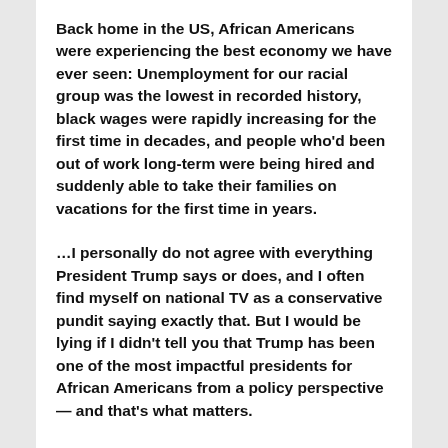Back home in the US, African Americans were experiencing the best economy we have ever seen: Unemployment for our racial group was the lowest in recorded history, black wages were rapidly increasing for the first time in decades, and people who'd been out of work long-term were being hired and suddenly able to take their families on vacations for the first time in years.
…I personally do not agree with everything President Trump says or does, and I often find myself on national TV as a conservative pundit saying exactly that. But I would be lying if I didn't tell you that Trump has been one of the most impactful presidents for African Americans from a policy perspective — and that's what matters.
His recent police-reform executive order, the First Step Act, released thousands of people